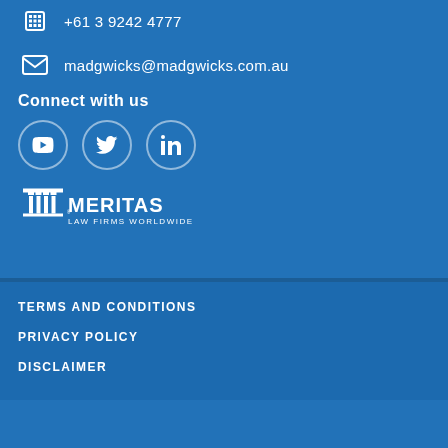+61 3 9242 4777
madgwicks@madgwicks.com.au
Connect with us
[Figure (logo): Social media icons: YouTube, Twitter, LinkedIn in white circles]
[Figure (logo): Meritas Law Firms Worldwide logo in white]
TERMS AND CONDITIONS
PRIVACY POLICY
DISCLAIMER